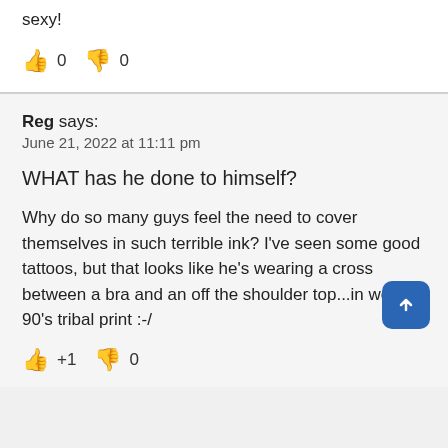sexy!
👍 0 👎 0
Reg says:
June 21, 2022 at 11:11 pm
WHAT has he done to himself?
Why do so many guys feel the need to cover themselves in such terrible ink? I've seen some good tattoos, but that looks like he's wearing a cross between a bra and an off the shoulder top...in weedy 90's tribal print :-/
👍 +1 👎 0